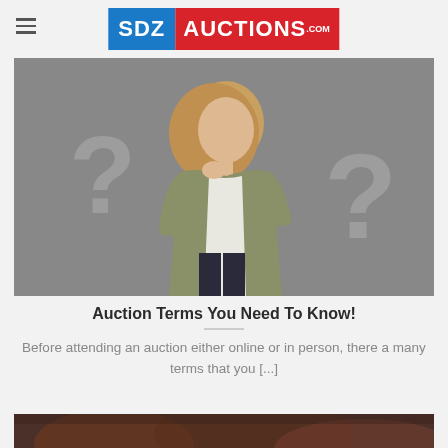SDZ AUCTIONS.com
[Figure (photo): Woman with blonde hair in grey blazer looking upward against grey background with large white question marks]
Auction Terms You Need To Know!
Before attending an auction either online or in person, there a many terms that you [...]
[Figure (photo): Close-up of dark brown leather items, partially visible at bottom of page]